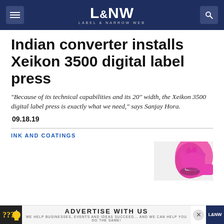L&NW LABEL & NARROW WEB
Indian converter installs Xeikon 3500 digital label press
“Because of its technical capabilities and its 20” width, the Xeikon 3500 digital label press is exactly what we need,” says Sanjay Hora.
09.18.19
INK AND COATINGS
[Figure (photo): Pink gloved hand holding a cup with red liquid]
ADVERTISE WITH US — WE HELP BUSINESSES, EVENTS AND IDEAS SUCCEED... AND WE CAN HELP YOU DO THE SAME! L&NW